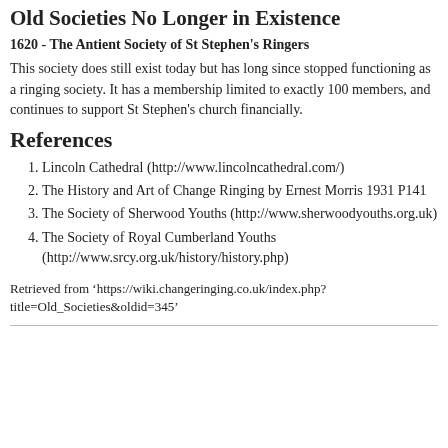Old Societies No Longer in Existence
1620 - The Antient Society of St Stephen's Ringers
This society does still exist today but has long since stopped functioning as a ringing society. It has a membership limited to exactly 100 members, and continues to support St Stephen's church financially.
References
1. Lincoln Cathedral (http://www.lincolncathedral.com/)
2. The History and Art of Change Ringing by Ernest Morris 1931 P141
3. The Society of Sherwood Youths (http://www.sherwoodyouths.org.uk)
4. The Society of Royal Cumberland Youths (http://www.srcy.org.uk/history/history.php)
Retrieved from ‘https://wiki.changeringing.co.uk/index.php?title=Old_Societies&oldid=345’